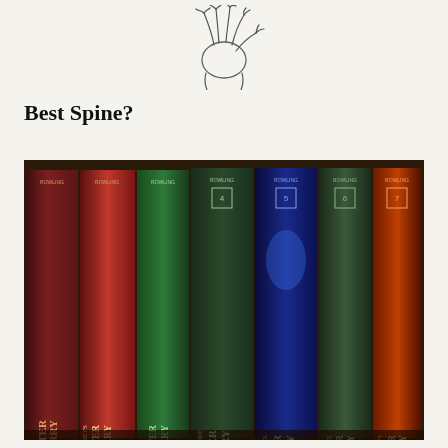[Figure (illustration): Hand-drawn sketch of a hand or leaf-like figure at the top of the page]
Best Spine?
[Figure (photo): Photograph of seven Harry Potter hardcover book spines lined up on a shelf, showing books 1-7 by J.K. Rowling. Titles visible: Harry Potter, Harry Potter and the Chamber of Secrets, Harry Potter (Prisoner of Azkaban), Harry Potter and the Goblet of Fire, Harry Potter and the Order of the Phoenix, Harry Potter and the Half-Blood Prince, Harry Potter and the Deathly Hallows.]